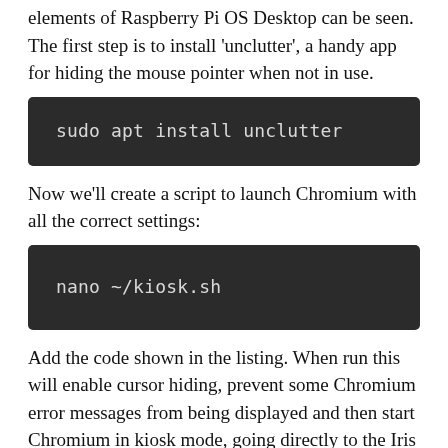elements of Raspberry Pi OS Desktop can be seen. The first step is to install 'unclutter', a handy app for hiding the mouse pointer when not in use.
[Figure (screenshot): Dark terminal code block showing: sudo apt install unclutter]
Now we'll create a script to launch Chromium with all the correct settings:
[Figure (screenshot): Dark terminal code block showing: nano ~/kiosk.sh]
Add the code shown in the listing. When run this will enable cursor hiding, prevent some Chromium error messages from being displayed and then start Chromium in kiosk mode, going directly to the Iris website in full-screen.
Implement the kiosk script